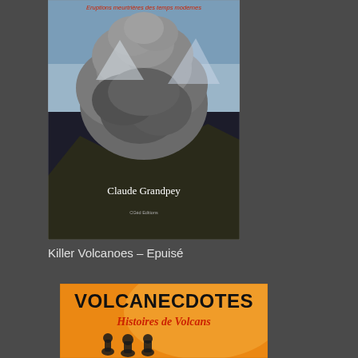[Figure (illustration): Book cover: 'Eruptions meurtrières des temps modernes' by Claude Grandpey, CGéd Editions. Shows a large volcanic ash cloud eruption over a mountainous landscape. Black and white/dark tones. Red subtitle text at top, white author name near bottom.]
Killer Volcanoes – Epuisé
[Figure (illustration): Book cover: 'VOLCANECDOTES - Histoires de Volcans'. Orange/amber background with silhouettes of people at bottom. Title in large black text, subtitle in orange italic text.]